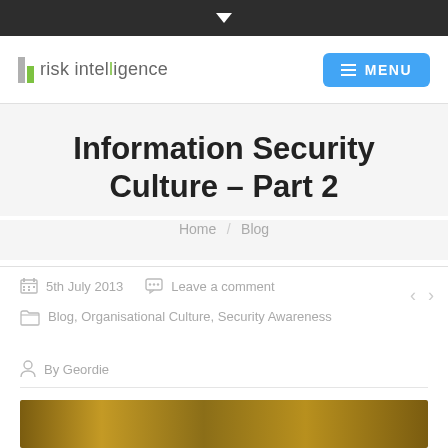risk intelligence — MENU
Information Security Culture – Part 2
Home / Blog
5th July 2013   Leave a comment
Blog, Organisational Culture, Security Awareness
By Geordie
[Figure (photo): Partial image strip visible at bottom of page, brownish/golden tones]